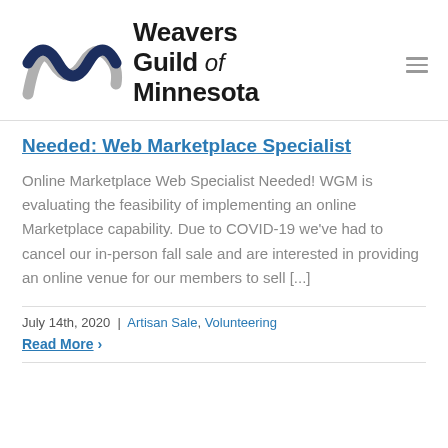[Figure (logo): Weavers Guild of Minnesota logo with intertwined W/M shapes in dark navy and silver/gray, alongside text 'Weavers Guild of Minnesota']
Needed: Web Marketplace Specialist
Online Marketplace Web Specialist Needed! WGM is evaluating the feasibility of implementing an online Marketplace capability. Due to COVID-19 we've had to cancel our in-person fall sale and are interested in providing an online venue for our members to sell [...]
July 14th, 2020 | Artisan Sale, Volunteering
Read More ›